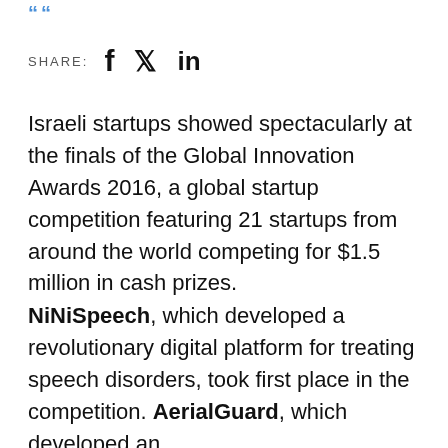““
SHARE: f ♪ in
Israeli startups showed spectacularly at the finals of the Global Innovation Awards 2016, a global startup competition featuring 21 startups from around the world competing for $1.5 million in cash prizes.
NiNiSpeech, which developed a revolutionary digital platform for treating speech disorders, took first place in the competition. AerialGuard, which developed an